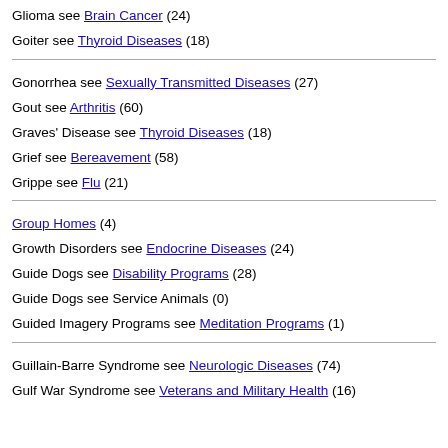Glioma see Brain Cancer (24)
Goiter see Thyroid Diseases (18)
Gonorrhea see Sexually Transmitted Diseases (27)
Gout see Arthritis (60)
Graves' Disease see Thyroid Diseases (18)
Grief see Bereavement (58)
Grippe see Flu (21)
Group Homes (4)
Growth Disorders see Endocrine Diseases (24)
Guide Dogs see Disability Programs (28)
Guide Dogs see Service Animals (0)
Guided Imagery Programs see Meditation Programs (1)
Guillain-Barre Syndrome see Neurologic Diseases (74)
Gulf War Syndrome see Veterans and Military Health (16)